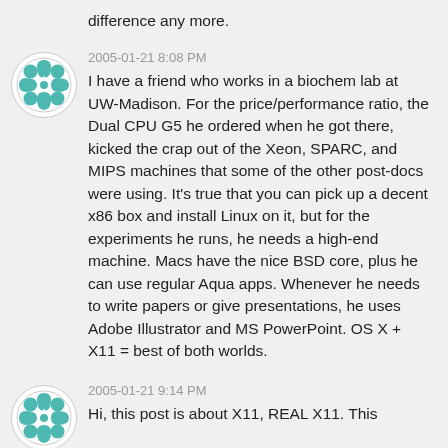difference any more.
2005-01-21 8:08 PM
I have a friend who works in a biochem lab at UW-Madison. For the price/performance ratio, the Dual CPU G5 he ordered when he got there, kicked the crap out of the Xeon, SPARC, and MIPS machines that some of the other post-docs were using. It's true that you can pick up a decent x86 box and install Linux on it, but for the experiments he runs, he needs a high-end machine. Macs have the nice BSD core, plus he can use regular Aqua apps. Whenever he needs to write papers or give presentations, he uses Adobe Illustrator and MS PowerPoint. OS X + X11 = best of both worlds.
2005-01-21 9:14 PM
Hi, this post is about X11, REAL X11. This